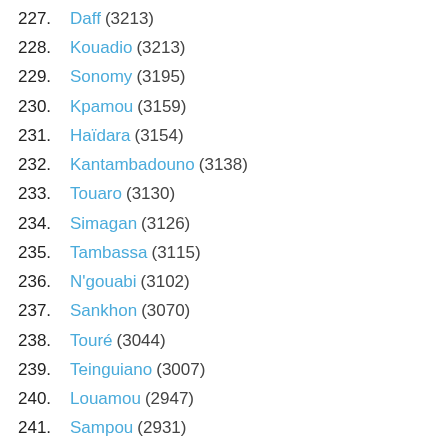227. Daff (3213)
228. Kouadio (3213)
229. Sonomy (3195)
230. Kpamou (3159)
231. Haïdara (3154)
232. Kantambadouno (3138)
233. Touaro (3130)
234. Simagan (3126)
235. Tambassa (3115)
236. N'gouabi (3102)
237. Sankhon (3070)
238. Touré (3044)
239. Teinguiano (3007)
240. Louamou (2947)
241. Sampou (2931)
242. Sesay (2892)